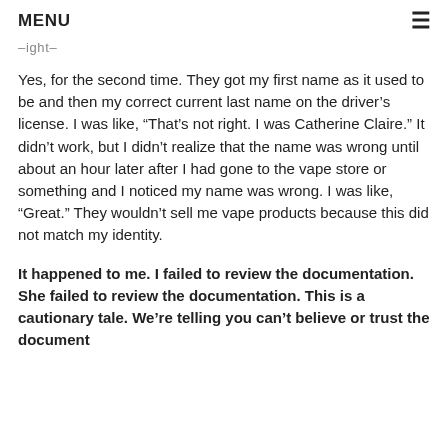MENU
–ight–
Yes, for the second time. They got my first name as it used to be and then my correct current last name on the driver's license. I was like, “That’s not right. I was Catherine Claire.” It didn’t work, but I didn’t realize that the name was wrong until about an hour later after I had gone to the vape store or something and I noticed my name was wrong. I was like, “Great.” They wouldn’t sell me vape products because this did not match my identity.
It happened to me. I failed to review the documentation. She failed to review the documentation. This is a cautionary tale. We’re telling you can’t believe or trust the document